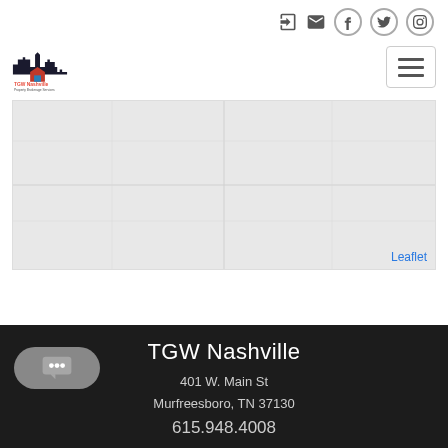Social/navigation icons: login, email, Facebook, Twitter, Instagram
[Figure (logo): TGW Nashville logo with city skyline silhouette and house icon]
[Figure (map): Leaflet map placeholder showing a grey map area with 'Leaflet' attribution link]
TGW Nashville
401 W. Main St
Murfreesboro, TN 37130
615.948.4008